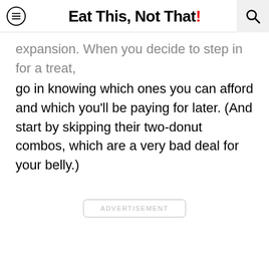Eat This, Not That!
expansion. When you decide to step in for a treat, go in knowing which ones you can afford and which you'll be paying for later. (And start by skipping their two-donut combos, which are a very bad deal for your belly.)
ADVERTISEMENT